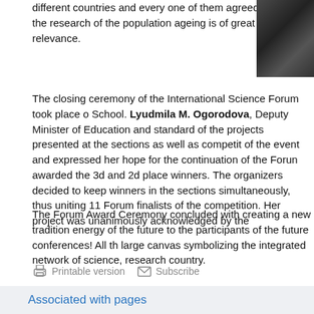different countries and every one of them agreed that the research of the population ageing is of great relevance.
[Figure (photo): A person standing, partial view, dark background]
The closing ceremony of the International Science Forum took place o School. Lyudmila M. Ogorodova, Deputy Minister of Education and standard of the projects presented at the sections as well as competi of the event and expressed her hope for the continuation of the Foru awarded the 3d and 2d place winners. The organizers decided to kee winners in the sections simultaneously, thus uniting 11 Forum finalist of the competition. Her project was unanimously acknowledged by the
The Forum Award Ceremony concluded with creating a new tradition energy of the future to the participants of the future conferences! All t large canvas symbolizing the integrated network of science, research country.
Printable version   Subscribe
Associated with pages